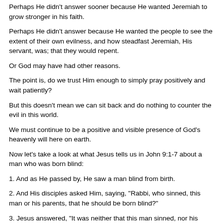Perhaps He didn't answer sooner because He wanted Jeremiah to grow stronger in his faith.
Perhaps He didn't answer because He wanted the people to see the extent of their own evilness, and how steadfast Jeremiah, His servant, was; that they would repent.
Or God may have had other reasons.
The point is, do we trust Him enough to simply pray positively and wait patiently?
But this doesn't mean we can sit back and do nothing to counter the evil in this world.
We must continue to be a positive and visible presence of God's heavenly will here on earth.
Now let's take a look at what Jesus tells us in John 9:1-7 about a man who was born blind:
1. And as He passed by, He saw a man blind from birth.
2. And His disciples asked Him, saying, "Rabbi, who sinned, this man or his parents, that he should be born blind?"
3. Jesus answered, "It was neither that this man sinned, nor his parents; but it was in order that the works of God might be displayed in him.
4. "We must work the works of Him who sent Me, as long as it is day; night is coming, when no man can work.
5. "While I am in the world, I am the light of the world."